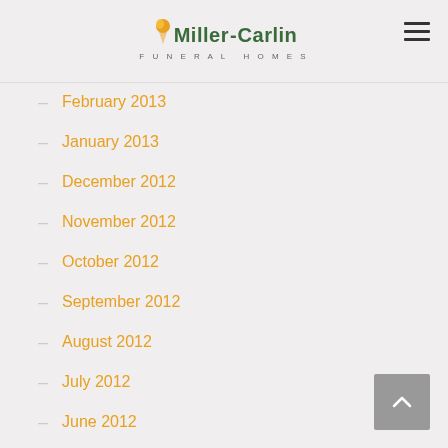Miller-Carlin Funeral Homes
February 2013
January 2013
December 2012
November 2012
October 2012
September 2012
August 2012
July 2012
June 2012
May 2012
April 2012
March 2012
February 2012
January 2012